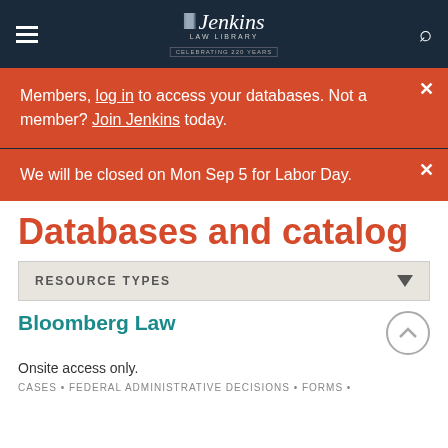Jenkins Law Library — Celebrating 220 Years
Members, log in to access your databases. Not a member? Join Jenkins today.
We will be closed on Mon Sep 5 for Labor Day.
Databases and catalog
RESOURCE TYPES
Bloomberg Law
Onsite access only.
CASES • FEDERAL ADMINISTRATIVE DECISIONS • FORMS •